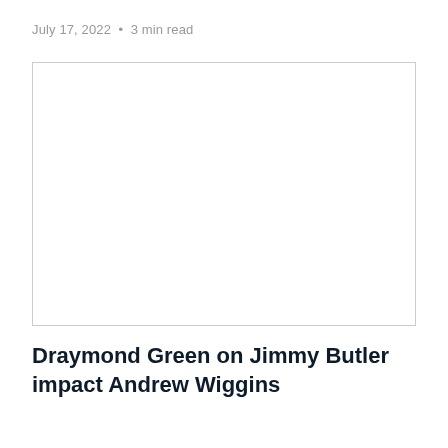July 17, 2022 • 3 min read
[Figure (photo): Empty image placeholder with light gray border]
Draymond Green on Jimmy Butler impact Andrew Wiggins